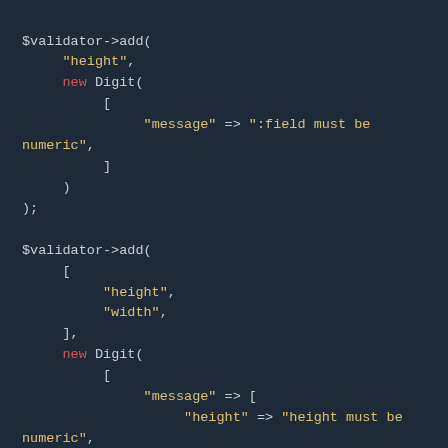[Figure (screenshot): Code screenshot showing PHP validator code with syntax highlighting on a dark background. Two $validator->add() calls are shown with Digit validation rules and message arrays.]